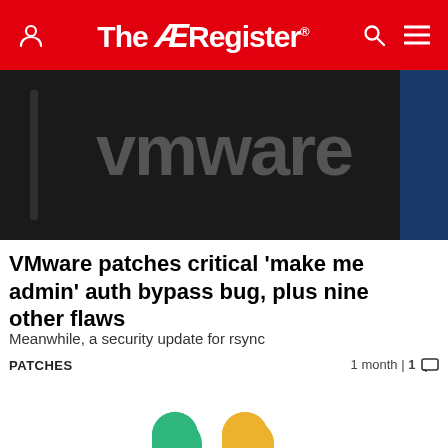The Register
[Figure (photo): VMware logo on dark background signage]
VMware patches critical 'make me admin' auth bypass bug, plus nine other flaws
Meanwhile, a security update for rsync
PATCHES   1 month | 1 comment
[Figure (logo): Slack colorful cross/hashtag logo with overlapping colored pill shapes in teal, green, yellow, red, pink colors]